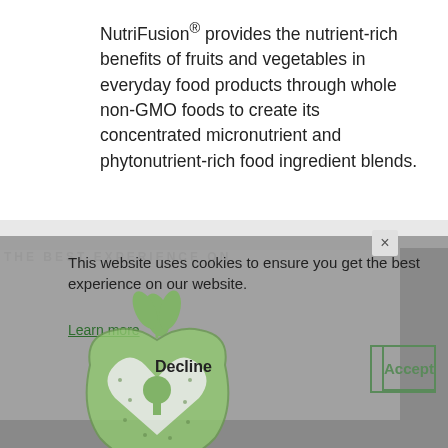NutriFusion® provides the nutrient-rich benefits of fruits and vegetables in everyday food products through whole non-GMO foods to create its concentrated micronutrient and phytonutrient-rich food ingredient blends.
This website uses cookies to ensure you get the best experience on our website.
Learn more
Decline
Accept